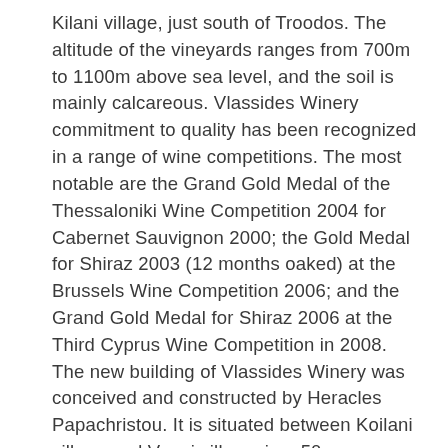Kilani village, just south of Troodos. The altitude of the vineyards ranges from 700m to 1100m above sea level, and the soil is mainly calcareous. Vlassides Winery commitment to quality has been recognized in a range of wine competitions. The most notable are the Grand Gold Medal of the Thessaloniki Wine Competition 2004 for Cabernet Sauvignon 2000; the Gold Medal for Shiraz 2003 (12 months oaked) at the Brussels Wine Competition 2006; and the Grand Gold Medal for Shiraz 2006 at the Third Cyprus Wine Competition in 2008. The new building of Vlassides Winery was conceived and constructed by Heracles Papachristou. It is situated between Koilani village and Vouni village, in a 50 acres vineyard, called Koloni. The winery was designed according to the functional use of space and machinery.